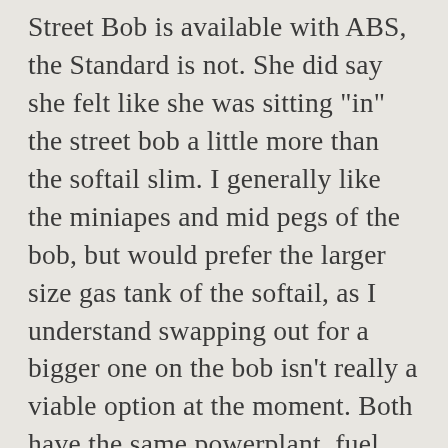Street Bob is available with ABS, the Standard is not. She did say she felt like she was sitting "in" the street bob a little more than the softail slim. I generally like the miniapes and mid pegs of the bob, but would prefer the larger size gas tank of the softail, as I understand swapping out for a bigger one on the bob isn't really a viable option at the moment. Both have the same powerplant, fuel capacity, and features. If you're doing your research it's probably not just academic. Anything and everything related to Harley-Davidson motorcycles. We can let the cat out of the bag right away—the 2020 Harley-Davidson Softail Standard is a Street Bob with different finishes. You could always run a highway bar with pegs if you happen to